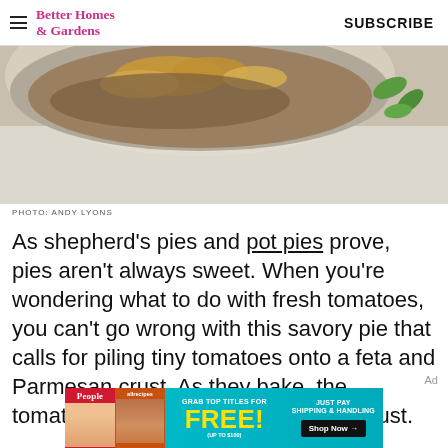Better Homes & Gardens   SUBSCRIBE
[Figure (photo): Partial overhead view of a dish/bowl containing a tomato pie with golden crust, with green herb leaves visible to the right, on a light gray surface.]
PHOTO: ANDY LYONS
As shepherd's pies and pot pies prove, pies aren't always sweet. When you're wondering what to do with fresh tomatoes, you can't go wrong with this savory pie that calls for piling tiny tomatoes onto a feta and Parmesan crust. As they bake, the tomatoes melt into the tender, flaky crust.
[Figure (infographic): Advertisement banner: Grab top titles for FREE! (Up to $100) Just pay shipping & handling. Shop Now arrow. Shows People and allrecipes magazine covers.]